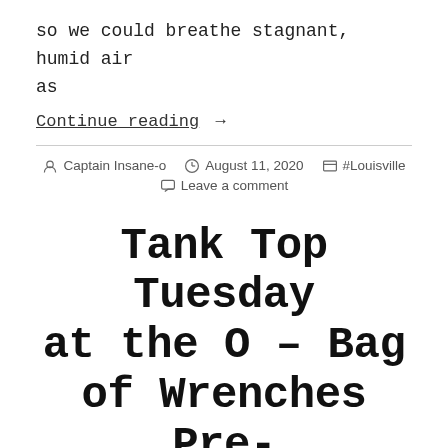so we could breathe stagnant, humid air as
Continue reading →
Captain Insane-o  August 11, 2020  #Louisville  Leave a comment
Tank Top Tuesday at the O – Bag of Wrenches Pre-blast 8.11.20